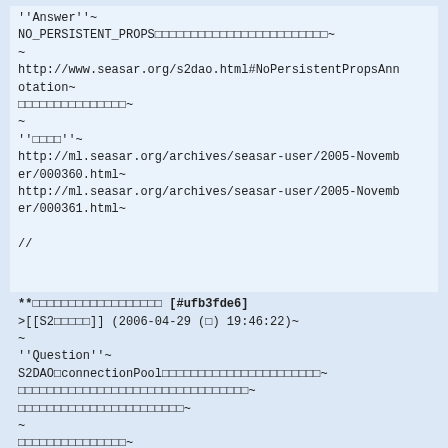''Answer''~
NO_PERSISTENT_PROPS□□□□□□□□□□□□□□□□□□□□□□□□~
~
http://www.seasar.org/s2dao.html#NoPersistentPropsAnnotation~
□□□□□□□□□□□□□□□~
~
''□□□□''~
http://ml.seasar.org/archives/seasar-user/2005-November/000360.html~
http://ml.seasar.org/archives/seasar-user/2005-November/000361.html~

//
**□□□□□□□□□□□□□□□□□□ [#ufb3fde6]
>[[S2□□□□□]] (2006-04-29 (□) 19:46:22)~
~
''Question''~
S2DAO□connectionPool□□□□□□□□□□□□□□□□□□□□□□~
□□□□□□□□□□□□□□□□□□□□□□□□□□□□□□□□~
□□□□□□□□□□□□□□□□□□□□□□□~
~
□□□□□□□□□□□□□□□~
[□□□□□□□□□□□□□□□□]□□□□□□□□□□□□□□□□□□~
□ [□□□□□□□□□□□□□□□□]□□□□□□□□□□□□□□□□~
□□□□□□□□□□□□□□□□□□□□□~

~